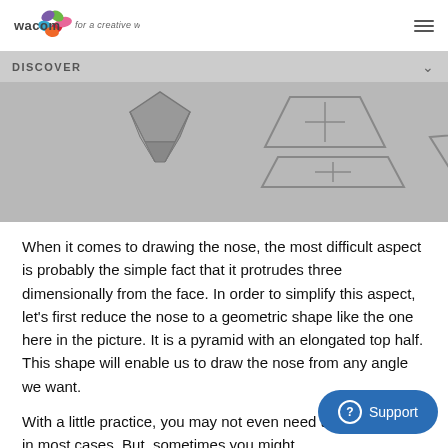wacom · for a creative world™
DISCOVER
[Figure (illustration): 3D geometric shapes showing pyramid and trapezoid views representing a nose model from multiple angles on a grey background]
When it comes to drawing the nose, the most difficult aspect is probably the simple fact that it protrudes three dimensionally from the face. In order to simplify this aspect, let's first reduce the nose to a geometric shape like the one here in the picture. It is a pyramid with an elongated top half. This shape will enable us to draw the nose from any angle we want.
With a little practice, you may not even need to draw a nose in most cases. But, sometimes you might